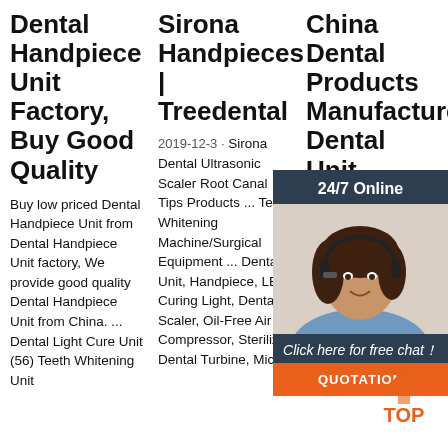Dental Handpiece Unit Factory, Buy Good Quality
Buy low priced Dental Handpiece Unit from Dental Handpiece Unit factory, We provide good quality Dental Handpiece Unit from China. ... Dental Light Cure Unit (56) Teeth Whitening Unit
Sirona Handpieces | Treedental
2019-12-3 · Sirona Dental Ultrasonic Scaler Root Canal Tips Products ... Teeth Whitening Machine/Surgical Equipment ... Dental Unit, Handpiece, LED Curing Light, Dental Scaler, Oil-Free Air Compressor, Sterilizer, Dental Turbine, Micro
China Dental Products Manufacturer, Dental Unit
Zahn Dental Turbine, Fiber Optic Licht Handstuck für Sirona, NSK. CX207-GS for Sirona. Handpieces compatible with Sirona R/F quick coupling. CX207-GK for KAVO. Fit
[Figure (photo): Customer service agent woman with headset, smiling, with '24/7 Online' header, 'Click here for free chat!' text, and orange QUOTATION button overlay widget]
[Figure (logo): Orange and white TOP logo with arrow/chevron icon above the text TOP]